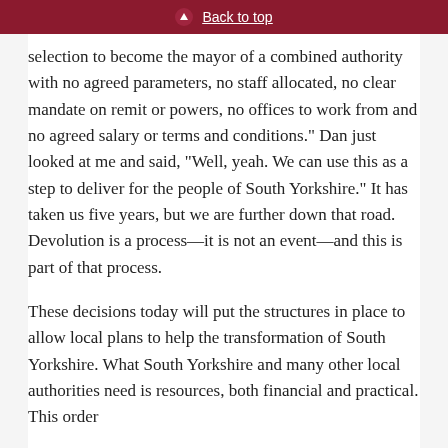Back to top
selection to become the mayor of a combined authority with no agreed parameters, no staff allocated, no clear mandate on remit or powers, no offices to work from and no agreed salary or terms and conditions.” Dan just looked at me and said, “Well, yeah. We can use this as a step to deliver for the people of South Yorkshire.” It has taken us five years, but we are further down that road. Devolution is a process—it is not an event—and this is part of that process.
These decisions today will put the structures in place to allow local plans to help the transformation of South Yorkshire. What South Yorkshire and many other local authorities need is resources, both financial and practical. This order